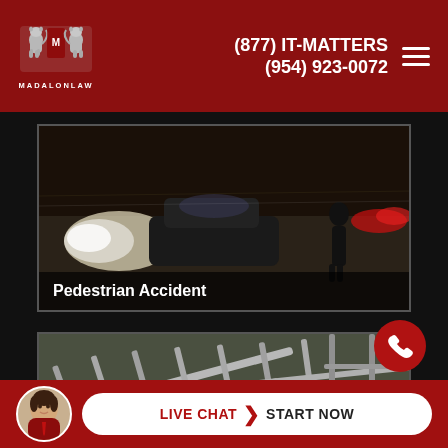[Figure (logo): Madalon Law logo with heraldic crest and MADALONLAW text]
(877) IT-MATTERS
(954) 923-0072
[Figure (photo): Night scene with car headlights and a pedestrian silhouette on a dark road]
Pedestrian Accident
[Figure (photo): Fallen metal railing/fence on a road with yellow painted lines]
Premises Liability
LIVE CHAT › START NOW